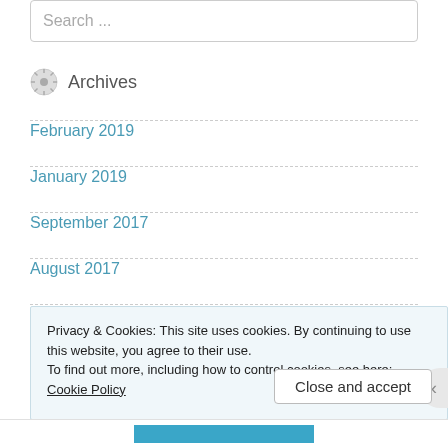Search ...
Archives
February 2019
January 2019
September 2017
August 2017
July 2017
Privacy & Cookies: This site uses cookies. By continuing to use this website, you agree to their use.
To find out more, including how to control cookies, see here: Cookie Policy
Close and accept